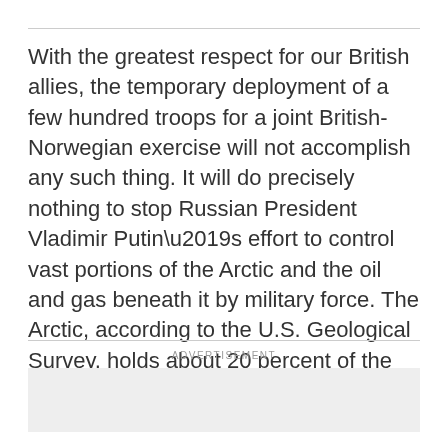With the greatest respect for our British allies, the temporary deployment of a few hundred troops for a joint British-Norwegian exercise will not accomplish any such thing. It will do precisely nothing to stop Russian President Vladimir Putin’s effort to control vast portions of the Arctic and the oil and gas beneath it by military force. The Arctic, according to the U.S. Geological Survey, holds about 20 percent of the world’s untapped reserves, worth some $20 trillion.
ADVERTISEMENT